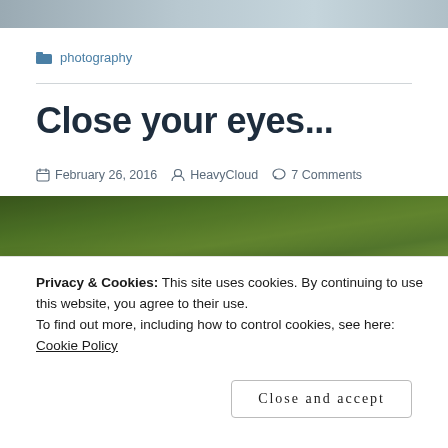[Figure (photo): Top banner image strip, blurred outdoor/nature photo]
📁 photography
Close your eyes...
📅 February 26, 2016   👤 HeavyCloud   💬 7 Comments
[Figure (photo): Blurred green foliage/nature photo strip]
Privacy & Cookies: This site uses cookies. By continuing to use this website, you agree to their use.
To find out more, including how to control cookies, see here: Cookie Policy
Close and accept